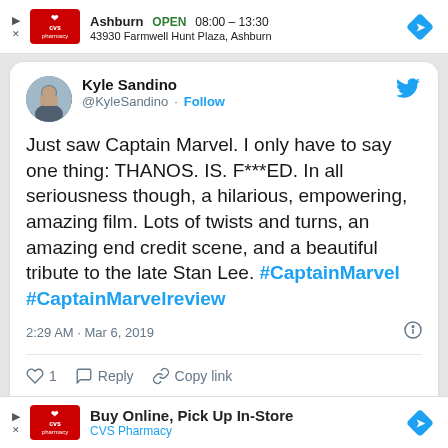[Figure (infographic): CVS Pharmacy advertisement banner showing store location in Ashburn, open hours 08:00-13:30, address 43930 Farmwell Hunt Plaza, Ashburn]
Kyle Sandino @KyleSandino · Follow
Just saw Captain Marvel. I only have to say one thing: THANOS. IS. F***ED. In all seriousness though, a hilarious, empowering, amazing film. Lots of twists and turns, an amazing end credit scene, and a beautiful tribute to the late Stan Lee. #CaptainMarvel #CaptainMarvelreview
2:29 AM · Mar 6, 2019
1  Reply  Copy link
Explore what's happening on Twitter
[Figure (infographic): CVS Pharmacy advertisement banner: Buy Online, Pick Up In-Store. CVS Pharmacy]